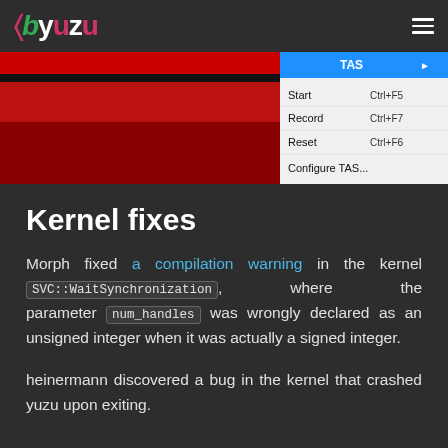yuzu
[Figure (screenshot): Screenshot of yuzu emulator showing a TAS menu with options: Start (Ctrl+F5), Record (Ctrl+F7), Reset (Ctrl+F6), Configure TAS... The background shows a game with red and black graphics.]
Kernel fixes
Morph fixed a compilation warning in the kernel SVC::WaitSynchronization, where the parameter num_handles was wrongly declared as an unsigned integer when it was actually a signed integer.
heinermann discovered a bug in the kernel that crashed yuzu upon exiting.